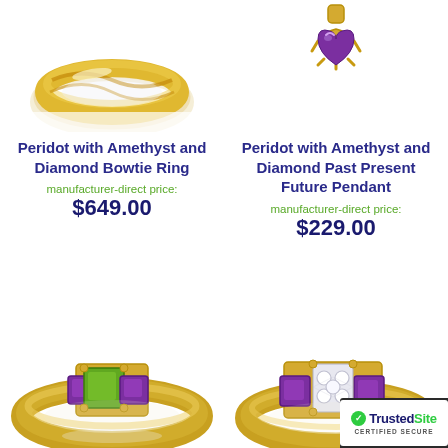[Figure (photo): Gold twisted ring with white background, top left product image]
[Figure (photo): Gold pendant with purple amethyst heart-shaped gemstone, top right product image]
Peridot with Amethyst and Diamond Bowtie Ring
manufacturer-direct price:
$649.00
Peridot with Amethyst and Diamond Past Present Future Pendant
manufacturer-direct price:
$229.00
[Figure (photo): Gold ring with green peridot center stone flanked by purple amethyst stones, bottom left product image]
[Figure (photo): Gold ring with purple amethyst stones and diamond bowtie centerpiece, bottom right product image]
[Figure (logo): TrustedSite Certified Secure badge, bottom right corner]